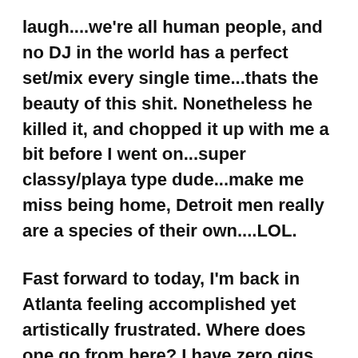laugh....we're all human people, and no DJ in the world has a perfect set/mix every single time...thats the beauty of this shit. Nonetheless he killed it, and chopped it up with me a bit before I went on...super classy/playa type dude...make me miss being home, Detroit men really are a species of their own....LOL.
Fast forward to today, I'm back in Atlanta feeling accomplished yet artistically frustrated. Where does one go from here? I have zero gigs lined up, I can't get an email back from the venue owner,